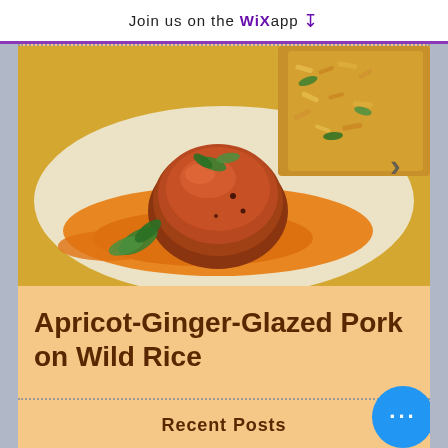Join us on the WiX app
[Figure (photo): A plate of apricot-ginger-glazed pork meatball on a pool of orange apricot sauce, garnished with fresh herbs, with a side of wild rice in the background. Navigation arrow visible on right side.]
Apricot-Ginger-Glazed Pork on Wild Rice
Recent Posts